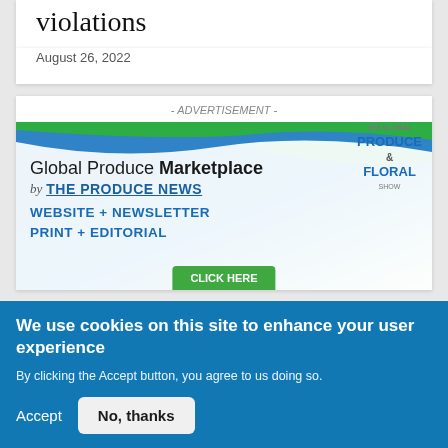violations
August 26, 2022
- ADVERTISEMENT -
[Figure (illustration): Global Produce Marketplace advertisement banner by The Produce News. Shows website, newsletter, print, and editorial services. Features The Global Produce & Floral Show logo. Blue and green gradient background.]
We use cookies on this site to enhance your user experience
By clicking the Accept button, you agree to us doing so.
Accept
No, thanks